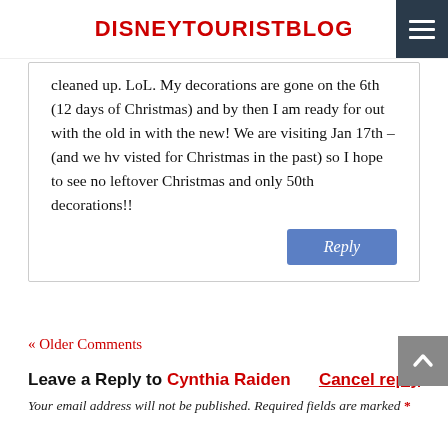DISNEYTOURISTBLOG
cleaned up. LoL. My decorations are gone on the 6th (12 days of Christmas) and by then I am ready for out with the old in with the new! We are visiting Jan 17th – (and we hv visted for Christmas in the past) so I hope to see no leftover Christmas and only 50th decorations!!
« Older Comments
Leave a Reply to Cynthia Raiden   Cancel reply
Your email address will not be published. Required fields are marked *